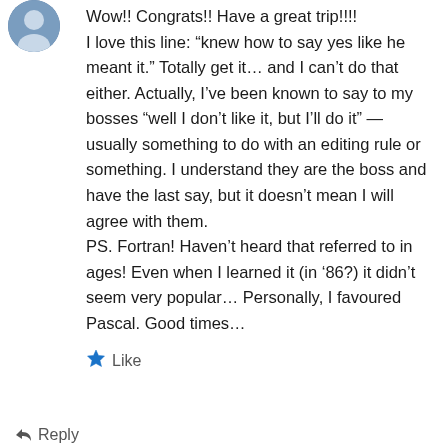[Figure (photo): Circular avatar photo of a person]
Wow!! Congrats!! Have a great trip!!!!
I love this line: “knew how to say yes like he meant it.” Totally get it… and I can’t do that either. Actually, I’ve been known to say to my bosses “well I don’t like it, but I’ll do it” — usually something to do with an editing rule or something. I understand they are the boss and have the last say, but it doesn’t mean I will agree with them.
PS. Fortran! Haven’t heard that referred to in ages! Even when I learned it (in ’86?) it didn’t seem very popular… Personally, I favoured Pascal. Good times…
Like
Reply